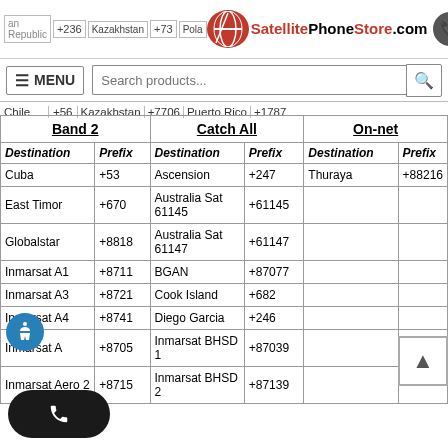SatellitePhoneStore.com — MENU, Search products...
Chile +56 | Kazakhstan +7706 | Puerto Rico +1787
| Band 2 Destination | Band 2 Prefix | Catch All Destination | Catch All Prefix | On-net Destination | On-net Prefix |
| --- | --- | --- | --- | --- | --- |
| Cuba | +53 | Ascension | +247 | Thuraya | +88216 |
| East Timor | +670 | Australia Sat 61145 | +61145 |  |  |
| Globalstar | +8818 | Australia Sat 61147 | +61147 |  |  |
| Inmarsat A1 | +8711 | BGAN | +87077 |  |  |
| Inmarsat A3 | +8721 | Cook Island | +682 |  |  |
| Inmarsat A4 | +8741 | Diego Garcia | +246 |  |  |
| Inmarsat A | +8705 | Inmarsat BHSD 1 | +87039 |  |  |
| Inmarsat Aero 2 | +8715 | Inmarsat BHSD 2 | +87139 |  |  |